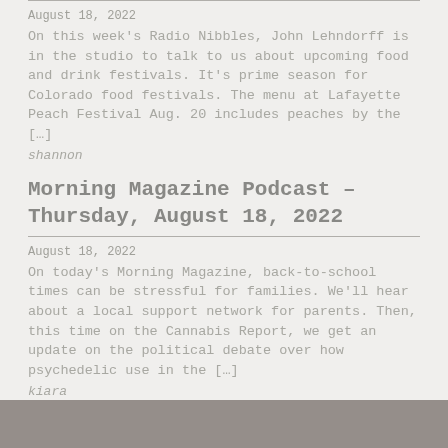August 18, 2022
On this week's Radio Nibbles, John Lehndorff is in the studio to talk to us about upcoming food and drink festivals. It's prime season for Colorado food festivals. The menu at Lafayette Peach Festival Aug. 20 includes peaches by the [...]
shannon
Morning Magazine Podcast – Thursday, August 18, 2022
August 18, 2022
On today's Morning Magazine, back-to-school times can be stressful for families. We'll hear about a local support network for parents. Then, this time on the Cannabis Report, we get an update on the political debate over how psychedelic use in the [...]
kiara
Headlines – August 18, 2022